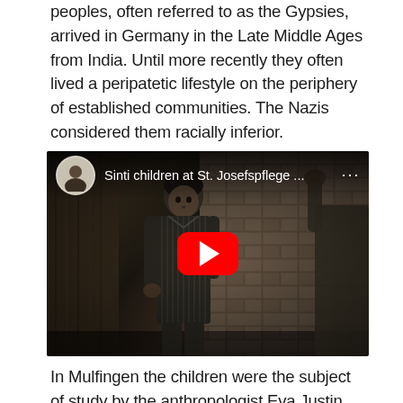peoples, often referred to as the Gypsies, arrived in Germany in the Late Middle Ages from India. Until more recently they often lived a peripatetic lifestyle on the periphery of established communities. The Nazis considered them racially inferior.
[Figure (screenshot): YouTube video thumbnail showing 'Sinti children at St. Josefspflege ...' with a young boy in striped clothing in the foreground against a dark historical background, with a red YouTube play button overlay]
In Mulfingen the children were the subject of study by the anthropologist Eva Justin, who was using her